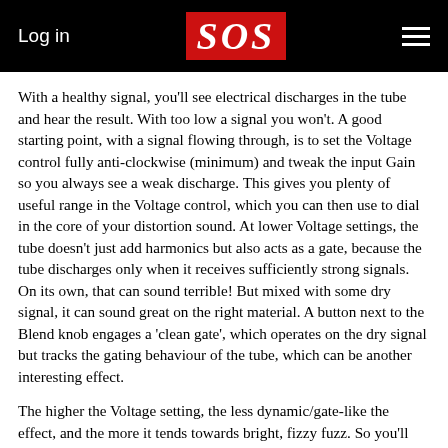Log in | SOS | Menu
With a healthy signal, you'll see electrical discharges in the tube and hear the result. With too low a signal you won't. A good starting point, with a signal flowing through, is to set the Voltage control fully anti-clockwise (minimum) and tweak the input Gain so you always see a weak discharge. This gives you plenty of useful range in the Voltage control, which you can then use to dial in the core of your distortion sound. At lower Voltage settings, the tube doesn't just add harmonics but also acts as a gate, because the tube discharges only when it receives sufficiently strong signals. On its own, that can sound terrible! But mixed with some dry signal, it can sound great on the right material. A button next to the Blend knob engages a 'clean gate', which operates on the dry signal but tracks the gating behaviour of the tube, which can be another interesting effect.
The higher the Voltage setting, the less dynamic/gate-like the effect, and the more it tends towards bright, fizzy fuzz. So you'll find that getting a result you like requires you to juggle the Gain, Voltage and Blend controls to taste. Depending on the source, you might also want to try the Sustain button — this engages a